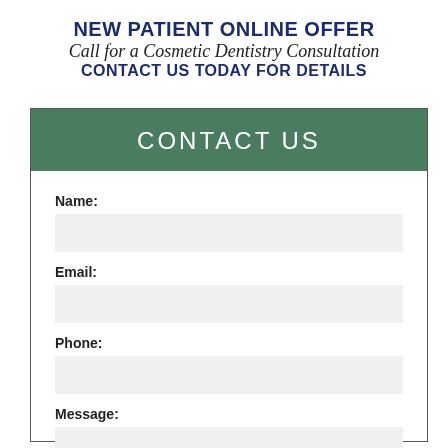NEW PATIENT ONLINE OFFER
Call for a Cosmetic Dentistry Consultation
CONTACT US TODAY FOR DETAILS
CONTACT US
Name:
Email:
Phone:
Message: